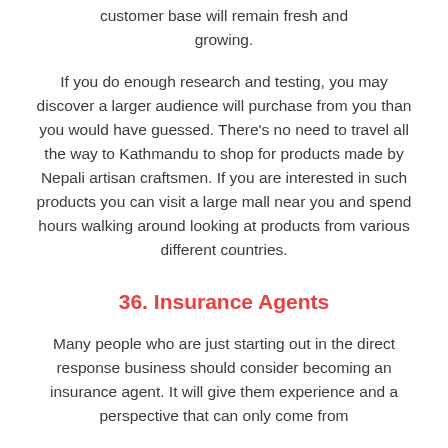customer base will remain fresh and growing.
If you do enough research and testing, you may discover a larger audience will purchase from you than you would have guessed. There’s no need to travel all the way to Kathmandu to shop for products made by Nepali artisan craftsmen. If you are interested in such products you can visit a large mall near you and spend hours walking around looking at products from various different countries.
36. Insurance Agents
Many people who are just starting out in the direct response business should consider becoming an insurance agent. It will give them experience and a perspective that can only come from